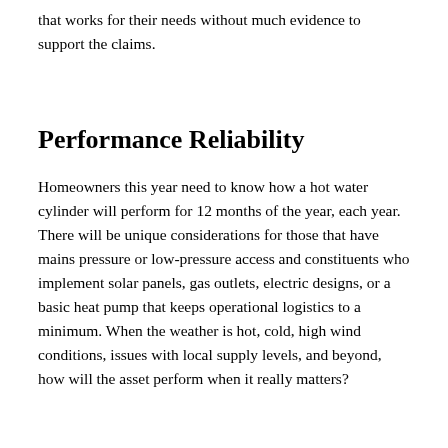that works for their needs without much evidence to support the claims.
Performance Reliability
Homeowners this year need to know how a hot water cylinder will perform for 12 months of the year, each year. There will be unique considerations for those that have mains pressure or low-pressure access and constituents who implement solar panels, gas outlets, electric designs, or a basic heat pump that keeps operational logistics to a minimum. When the weather is hot, cold, high wind conditions, issues with local supply levels, and beyond, how will the asset perform when it really matters?